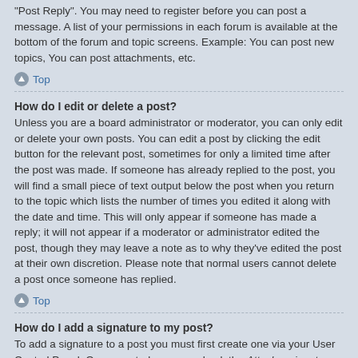"Post Reply". You may need to register before you can post a message. A list of your permissions in each forum is available at the bottom of the forum and topic screens. Example: You can post new topics, You can post attachments, etc.
Top
How do I edit or delete a post?
Unless you are a board administrator or moderator, you can only edit or delete your own posts. You can edit a post by clicking the edit button for the relevant post, sometimes for only a limited time after the post was made. If someone has already replied to the post, you will find a small piece of text output below the post when you return to the topic which lists the number of times you edited it along with the date and time. This will only appear if someone has made a reply; it will not appear if a moderator or administrator edited the post, though they may leave a note as to why they've edited the post at their own discretion. Please note that normal users cannot delete a post once someone has replied.
Top
How do I add a signature to my post?
To add a signature to a post you must first create one via your User Control Panel. Once created, you can check the Attach a signature box on the posting form to add your signature. You can also add a signature by default to all your posts by checking the appropriate radio button in the User Control Panel. If you do so, you can still prevent a signature being added to individual posts by un-checking the add signature box within the posting form.